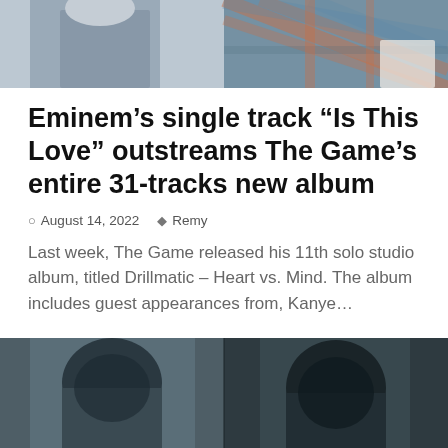[Figure (photo): Top cropped photo showing two people side by side — left side shows a person in gray/blue top, right side shows a person in a plaid/flannel shirt]
Eminem’s single track “Is This Love” outstreams The Game’s entire 31-tracks new album
○ August 14, 2022   & Remy
Last week, The Game released his 11th solo studio album, titled Drillmatic – Heart vs. Mind. The album includes guest appearances from, Kanye…
[Figure (photo): Bottom cropped photo showing two people side by side wearing dark hoodies with hoods up — left person lighter background, right person darker background]